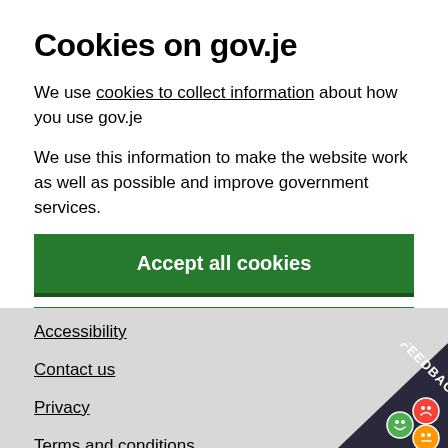Cookies on gov.je
We use cookies to collect information about how you use gov.je
We use this information to make the website work as well as possible and improve government services.
Accept all cookies
Cookie settings
Accessibility
Contact us
Privacy
Terms and conditions